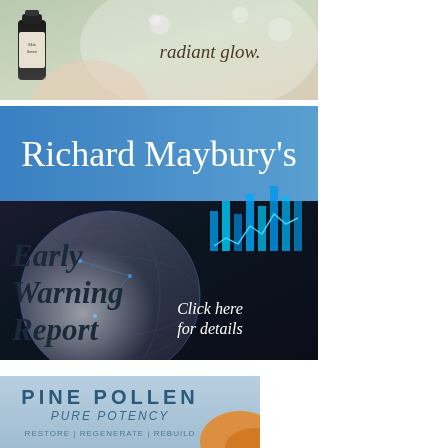[Figure (illustration): Advertisement showing a bottle of skincare product next to a woman's face with text 'radiant glow.' in cursive script on a soft floral background]
[Figure (illustration): Advertisement for Richard Maybury's Early Warning Report. Blue banner at top with white text 'Richard Maybury's', below is a dark background with a globe and financial chart imagery. Large italic text reads 'Early Warning Report' with italic text 'Click here for details' on the right.]
[Figure (illustration): Advertisement for Pine Pollen Pure Potency product. Light blue background with text: 'PINE POLLEN' in large teal caps, 'PURE POTENCY' in smaller caps below, 'RESTORE | REGENERATE | REBUILD' tagline, with an orange visual element at bottom right.]